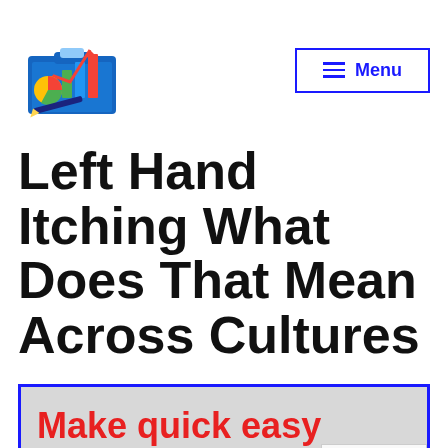[Figure (logo): Financial/accounting themed logo with bar charts, pie chart, calculator and pen on a blue clipboard]
[Figure (other): Menu button with hamburger icon and blue border, text 'Menu' in blue]
Left Hand Itching What Does That Mean Across Cultures
Make quick easy cash no...